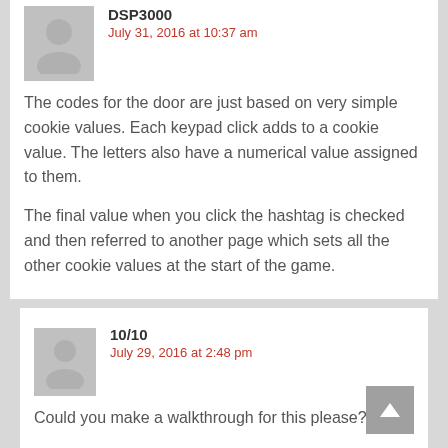DSP3000
July 31, 2016 at 10:37 am
The codes for the door are just based on very simple cookie values. Each keypad click adds to a cookie value. The letters also have a numerical value assigned to them.

The final value when you click the hashtag is checked and then referred to another page which sets all the other cookie values at the start of the game.
10/10
July 29, 2016 at 2:48 pm
Could you make a walkthrough for this please?